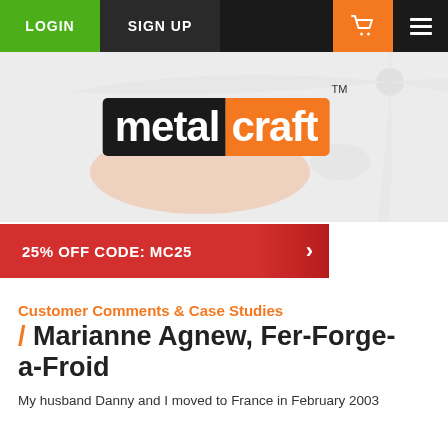LOGIN | SIGN UP | [cart] [menu]
[Figure (logo): Metalcraft brand logo with fan/propeller background image. Logo shows 'metal' in black rounded block and 'craft' in orange rounded block, with TM superscript.]
25% OFF CODE: MC25
Customer Comments & Case Studies
/ Marianne Agnew, Fer-Forge-a-Froid
My husband Danny and I moved to France in February 2003